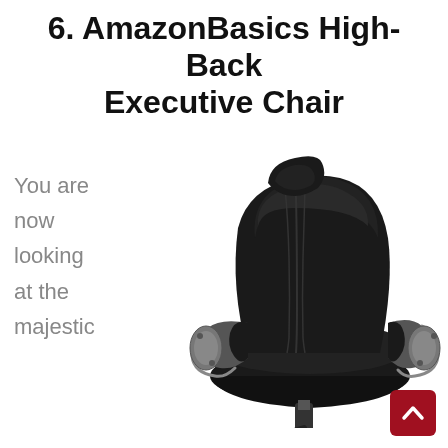6. AmazonBasics High-Back Executive Chair
You are now looking at the majestic
[Figure (photo): Black leather high-back executive office chair with silver armrests and wheel base on white background]
[Figure (other): Dark red square button with white upward chevron arrow, scroll-to-top navigation button]